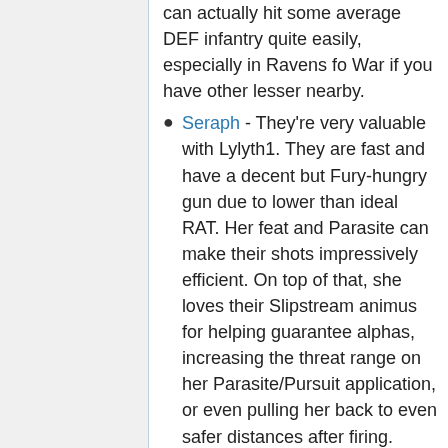can actually hit some average DEF infantry quite easily, especially in Ravens fo War if you have other lesser nearby.
Seraph - They're very valuable with Lylyth1. They are fast and have a decent but Fury-hungry gun due to lower than ideal RAT. Her feat and Parasite can make their shots impressively efficient. On top of that, she loves their Slipstream animus for helping guarantee alphas, increasing the threat range on her Parasite/Pursuit application, or even pulling her back to even safer distances after firing.
Nephilim Bolt Thrower - Many consider them mandatory, and for good reasons. Though Lylyth's bow has a solid range on its own to safely